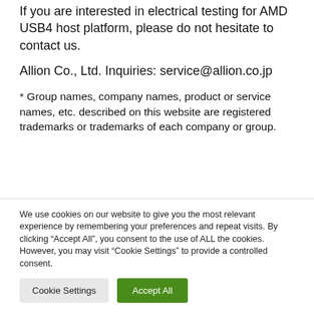If you are interested in electrical testing for AMD USB4 host platform, please do not hesitate to contact us.
Allion Co., Ltd. Inquiries: service@allion.co.jp
* Group names, company names, product or service names, etc. described on this website are registered trademarks or trademarks of each company or group.
We use cookies on our website to give you the most relevant experience by remembering your preferences and repeat visits. By clicking “Accept All”, you consent to the use of ALL the cookies. However, you may visit “Cookie Settings” to provide a controlled consent.